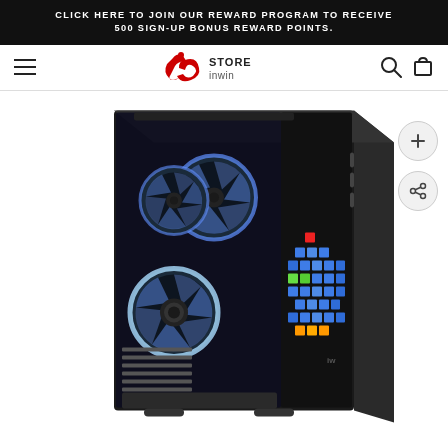CLICK HERE TO JOIN OUR REWARD PROGRAM TO RECEIVE 500 SIGN-UP BONUS REWARD POINTS.
[Figure (logo): InWin Store logo with stylized 'ie' mark in red and 'STORE inwin' text]
[Figure (photo): InWin PC case (ATX tower) with tempered glass side panel showing three RGB fans with blue lighting and a front panel LED display grid showing colorful pixel art pattern in blue, white, green, red, and orange squares. The case is matte black.]